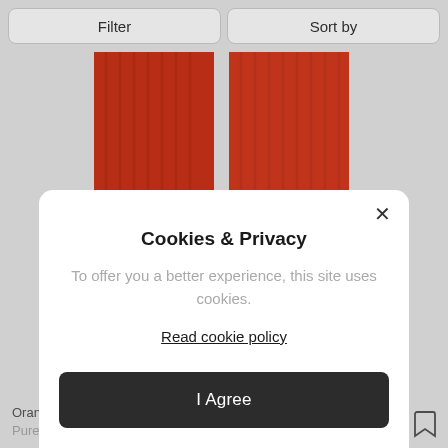Filter
Sort by
[Figure (photo): Red ribbed knit socks displayed on a light grey background]
Oran
Pure C
Cookies & Privacy
To offer you a better experience, this site uses cookies.
Read cookie policy
I Agree